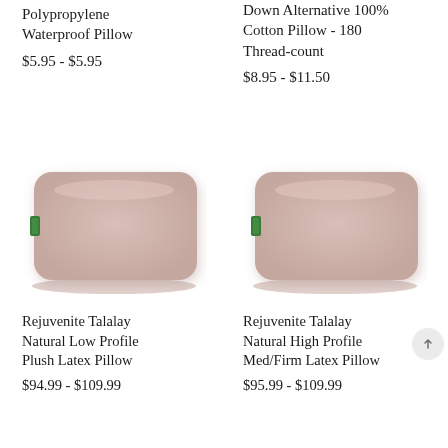Polypropylene Waterproof Pillow
$5.95 - $5.95
Down Alternative 100% Cotton Pillow - 180 Thread-count
$8.95 - $11.50
[Figure (photo): Rejuvenite Talalay Natural Low Profile Plush Latex Pillow - pinkish-beige rectangular pillow with small green label on left side]
Rejuvenite Talalay Natural Low Profile Plush Latex Pillow
$94.99 - $109.99
[Figure (photo): Rejuvenite Talalay Natural High Profile Med/Firm Latex Pillow - pinkish-beige rectangular pillow with small green label on left side]
Rejuvenite Talalay Natural High Profile Med/Firm Latex Pillow
$95.99 - $109.99